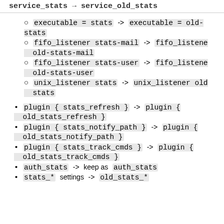service_stats -> service_old_stats
executable = stats -> executable = old-stats
fifo_listener stats-mail -> fifo_listener old-stats-mail
fifo_listener stats-user -> fifo_listener old-stats-user
unix_listener stats -> unix_listener old-stats
plugin { stats_refresh } -> plugin { old_stats_refresh }
plugin { stats_notify_path } -> plugin { old_stats_notify_path }
plugin { stats_track_cmds } -> plugin { old_stats_track_cmds }
auth_stats -> keep as auth_stats
stats_* settings -> old_stats_*